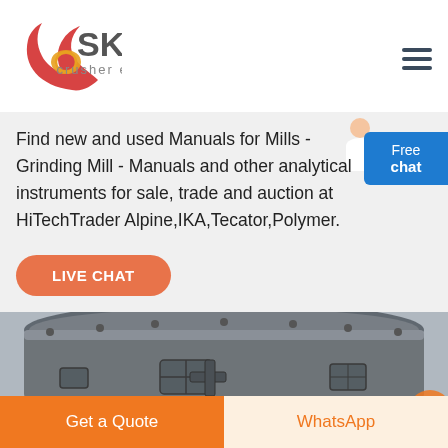[Figure (logo): SKS crusher expert logo with red swirl icon and gray SKS text]
Find new and used Manuals for Mills - Grinding Mill - Manuals and other analytical instruments for sale, trade and auction at HiTechTrader Alpine,IKA,Tecator,Polymer.
[Figure (photo): Top-down view of a large industrial grinding mill, dark metallic, with access hatches and hardware]
LIVE CHAT
Get a Quote
WhatsApp